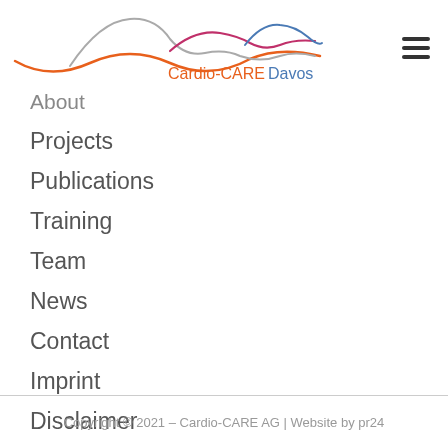[Figure (logo): Cardio-CARE Davos logo with colorful wave lines in orange, gray, pink, and blue, with text 'Cardio-CARE Davos' in orange and blue]
About
Projects
Publications
Training
Team
News
Contact
Imprint
Disclaimer
Copyright © 2021 – Cardio-CARE AG | Website by pr24